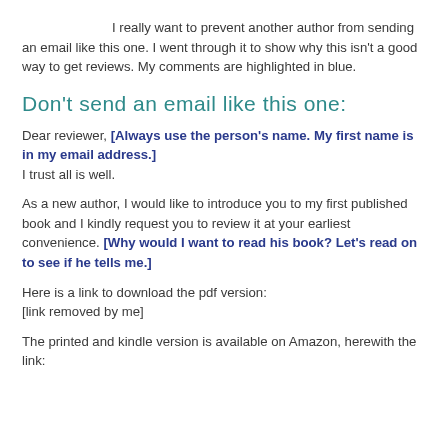I really want to prevent another author from sending an email like this one. I went through it to show why this isn't a good way to get reviews. My comments are highlighted in blue.
Don't send an email like this one:
Dear reviewer, [Always use the person's name. My first name is in my email address.] I trust all is well.
As a new author, I would like to introduce you to my first published book and I kindly request you to review it at your earliest convenience. [Why would I want to read his book? Let's read on to see if he tells me.]
Here is a link to download the pdf version:
[link removed by me]
The printed and kindle version is available on Amazon, herewith the link: